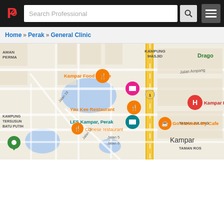Search Professional [navigation bar with logo and menu]
Home » Perak » General Clinic
[Figure (map): Google Maps view of Kampar, Perak area showing locations including Kampar Food Centre, Yau Kee Restaurant, LFS Kampar Perak, Chinese restaurant, Go Canteen My Cafe, Kampar Hospital, and a green map pin. Streets visible include Jalan Ampang, Jalan 19, Jalan 14, Jalan 5, Jalan 6. Districts labeled: Kampung Masjid, Kampung Tersusun Batu Putih, Taman Julong, Taman Ros.]